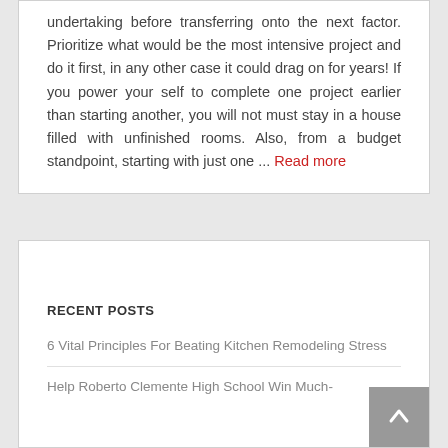undertaking before transferring onto the next factor. Prioritize what would be the most intensive project and do it first, in any other case it could drag on for years! If you power your self to complete one project earlier than starting another, you will not must stay in a house filled with unfinished rooms. Also, from a budget standpoint, starting with just one ... Read more
RECENT POSTS
6 Vital Principles For Beating Kitchen Remodeling Stress
Help Roberto Clemente High School Win Much-